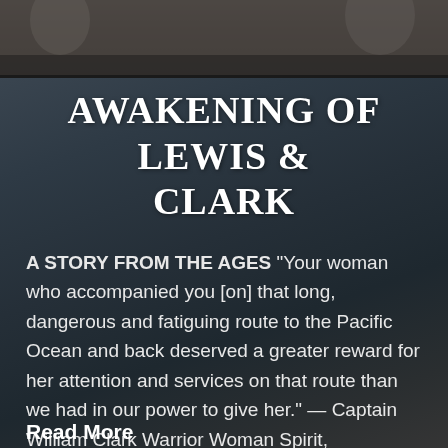[Figure (photo): Dark atmospheric background image showing a beach scene with overcast sky, used as the page background. Top portion shows a figure in white clothing.]
AWAKENING OF LEWIS & CLARK
A STORY FROM THE AGES “Your woman who accompanied you [on] that long, dangerous and fatiguing route to the Pacific Ocean and back deserved a greater reward for her attention and services on that route than we had in our power to give her.” — Captain William Clark Warrior Woman Spirit, Sacajawea – At a [...]
Read More